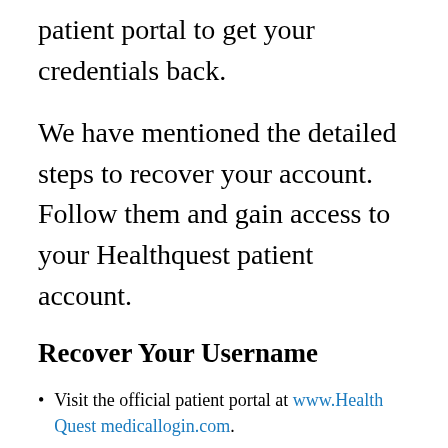patient portal to get your credentials back.
We have mentioned the detailed steps to recover your account. Follow them and gain access to your Healthquest patient account.
Recover Your Username
Visit the official patient portal at www.Health Quest medicallogin.com.
Now, click on the option TROUBLE LOGGING IN.
On reaching the next page, select FORGOT USERNAME and click NEXT.
On the next page, enter your first name, last name, and date of birth.